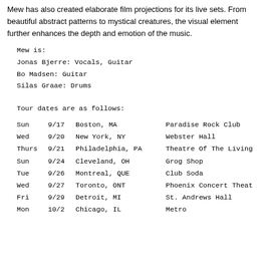Mew has also created elaborate film projections for its live sets. From beautiful abstract patterns to mystical creatures, the visual element further enhances the depth and emotion of the music.
Mew is:
Jonas Bjerre: Vocals, Guitar
Bo Madsen: Guitar
Silas Graae: Drums
Tour dates are as follows:
| Day | Date | City | Venue |
| --- | --- | --- | --- |
| Sun | 9/17 | Boston, MA | Paradise Rock Club |
| Wed | 9/20 | New York, NY | Webster Hall |
| Thurs | 9/21 | Philadelphia, PA | Theatre Of The Living |
| Sun | 9/24 | Cleveland, OH | Grog Shop |
| Tue | 9/26 | Montreal, QUE | Club Soda |
| Wed | 9/27 | Toronto, ONT | Phoenix Concert Theat |
| Fri | 9/29 | Detroit, MI | St. Andrews Hall |
| Mon | 10/2 | Chicago, IL | Metro |